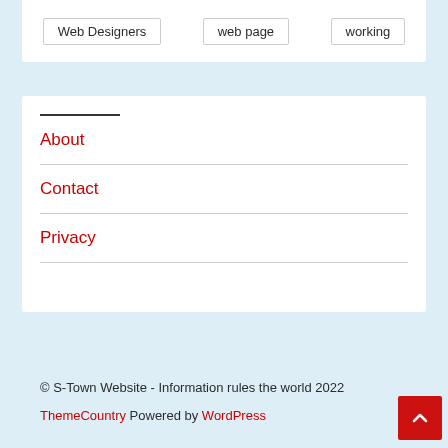Web Designers
web page
working
About
Contact
Privacy
© S-Town Website - Information rules the world 2022 ThemeCountry Powered by WordPress